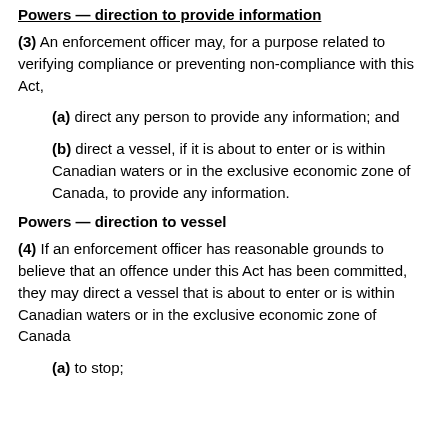Powers — direction to provide information
(3) An enforcement officer may, for a purpose related to verifying compliance or preventing non-compliance with this Act,
(a) direct any person to provide any information; and
(b) direct a vessel, if it is about to enter or is within Canadian waters or in the exclusive economic zone of Canada, to provide any information.
Powers — direction to vessel
(4) If an enforcement officer has reasonable grounds to believe that an offence under this Act has been committed, they may direct a vessel that is about to enter or is within Canadian waters or in the exclusive economic zone of Canada
(a) to stop;